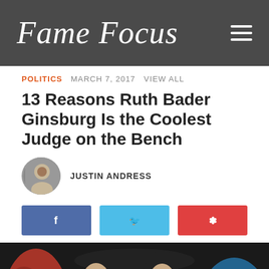Fame Focus
POLITICS   MARCH 7, 2017   VIEW ALL
13 Reasons Ruth Bader Ginsburg Is the Coolest Judge on the Bench
JUSTIN ANDRESS
[Figure (infographic): Social share buttons: Facebook (blue), Twitter (light blue), Pinterest (red)]
[Figure (photo): Photo of Ruth Bader Ginsburg and other Supreme Court justices in a crowd, smiling, wearing black robes]